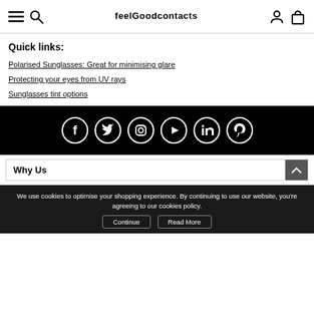feelGood contacts — navigation header with menu, search, logo, account and cart icons
Quick links:
Polarised Sunglasses: Great for minimising glare
Protecting your eyes from UV rays
Sunglasses tint options
[Figure (other): Social media icons on black background: Facebook, Twitter, Instagram, YouTube, LinkedIn, Pinterest]
Why Us
We use cookies to optimise your shopping experience. By continuing to use our website, you're agreeing to our cookies policy.
Continue | Read More